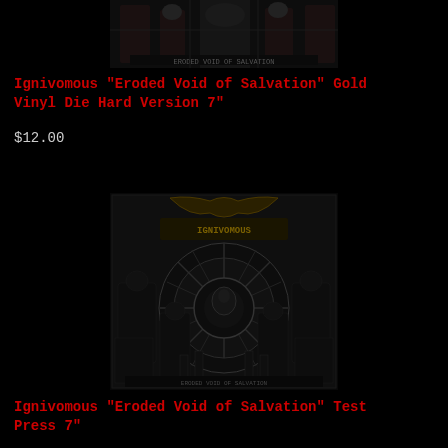[Figure (photo): Album cover artwork for Ignivomous - Eroded Void of Salvation, dark metal artwork with robed figures, partially cropped at top]
Ignivomous "Eroded Void of Salvation" Gold Vinyl Die Hard Version 7"
$12.00
[Figure (photo): Album cover artwork for Ignivomous - Eroded Void of Salvation, dark metal artwork showing robed figures surrounding a sunburst/wheel motif with a central demonic figure, full cover visible]
Ignivomous "Eroded Void of Salvation" Test Press 7"